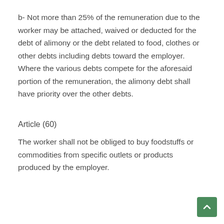b- Not more than 25% of the remuneration due to the worker may be attached, waived or deducted for the debt of alimony or the debt related to food, clothes or other debts including debts toward the employer. Where the various debts compete for the aforesaid portion of the remuneration, the alimony debt shall have priority over the other debts.
Article (60)
The worker shall not be obliged to buy foodstuffs or commodities from specific outlets or products produced by the employer.